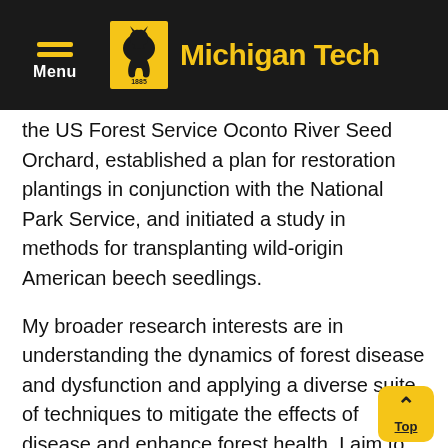Michigan Tech
the US Forest Service Oconto River Seed Orchard, established a plan for restoration plantings in conjunction with the National Park Service, and initiated a study in methods for transplanting wild-origin American beech seedlings.
My broader research interests are in understanding the dynamics of forest disease and dysfunction and applying a diverse suite of techniques to mitigate the effects of disease and enhance forest health. I aim to present the findings of my research in a clear and understandable manner to a diverse array of audiences. I work to enhance my science communication skills through written and oral